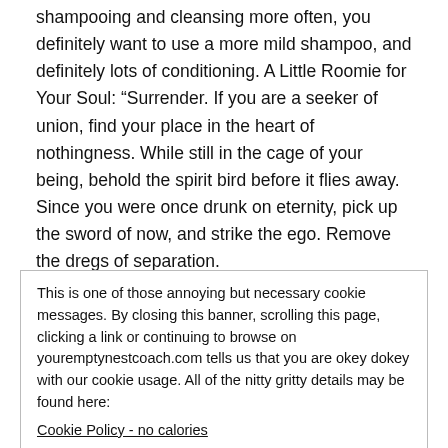shampooing and cleansing more often, you definitely want to use a more mild shampoo, and definitely lots of conditioning. A Little Roomie for Your Soul: “Surrender. If you are a seeker of union, find your place in the heart of nothingness. While still in the cage of your being, behold the spirit bird before it flies away. Since you were once drunk on eternity, pick up the sword of now, and strike the ego. Remove the dregs of separation.
Become pure so the cup of true reality can be filled with the pure wine of spirit.
This is one of those annoying but necessary cookie messages. By closing this banner, scrolling this page, clicking a link or continuing to browse on youremptynestcoach.com tells us that you are okey dokey with our cookie usage. All of the nitty gritty details may be found here:
Cookie Policy - no calories
Get rid of this box now.
Heart, and the Spirit, I will put a link to it into my show